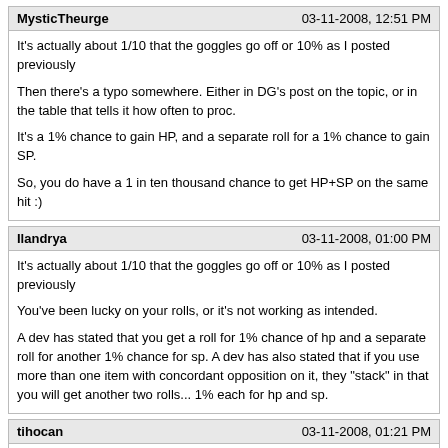MysticTheurge | 03-11-2008, 12:51 PM
It's actually about 1/10 that the goggles go off or 10% as I posted previously

Then there's a typo somewhere. Either in DG's post on the topic, or in the table that tells it how often to proc.

It's a 1% chance to gain HP, and a separate roll for a 1% chance to gain SP.

So, you do have a 1 in ten thousand chance to get HP+SP on the same hit :)
Ilandrya | 03-11-2008, 01:00 PM
It's actually about 1/10 that the goggles go off or 10&#37; as I posted previously

You've been lucky on your rolls, or it's not working as intended.

A dev has stated that you get a roll for 1% chance of hp and a separate roll for another 1% chance for sp. A dev has also stated that if you use more than one item with concordant opposition on it, they "stack" in that you will get another two rolls... 1% each for hp and sp.
tihocan | 03-11-2008, 01:21 PM
A dev has also stated that if you use more than one item with concordant opposition on it, they "stack" in that you will get another two rolls... 1% each for hp and sp.
Do you remember who said that?
Zaodon | 03-11-2008, 01:21 PM
You've been lucky on your rolls, or it's not working as intended.